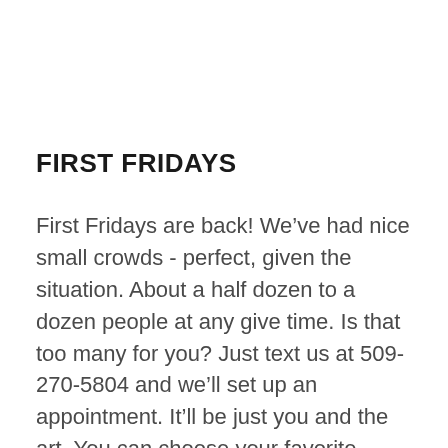FIRST FRIDAYS
First Fridays are back! We’ve had nice small crowds - perfect, given the situation. About a half dozen to a dozen people at any give time. Is that too many for you? Just text us at 509-270-5804 and we’ll set up an appointment. It’ll be just you and the art. You can choose your favorite piece safely.